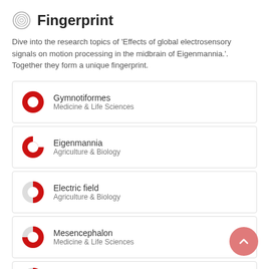Fingerprint
Dive into the research topics of 'Effects of global electrosensory signals on motion processing in the midbrain of Eigenmannia.'. Together they form a unique fingerprint.
Gymnotiformes — Medicine & Life Sciences
Eigenmannia — Agriculture & Biology
Electric field — Agriculture & Biology
Mesencephalon — Medicine & Life Sciences
Neurons